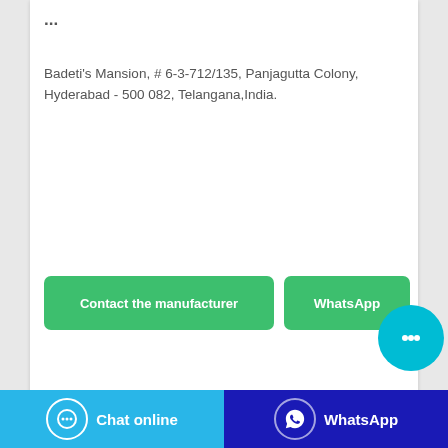...
Badeti's Mansion, # 6-3-712/135, Panjagutta Colony, Hyderabad - 500 082, Telangana,India.
[Figure (screenshot): Green 'Contact the manufacturer' button]
[Figure (screenshot): Green 'WhatsApp' button]
[Figure (screenshot): Cyan chat bubble floating action button with '...' icon]
[Figure (screenshot): Pink/magenta partial banner at the bottom of the card]
[Figure (screenshot): Bottom bar with cyan 'Chat online' button and dark blue 'WhatsApp' button]